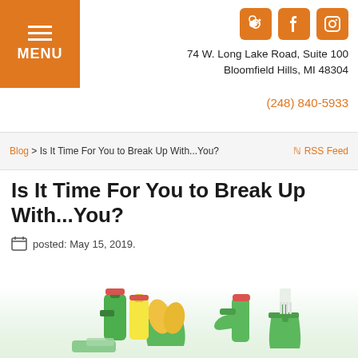MENU | Social icons | 74 W. Long Lake Road, Suite 100 Bloomfield Hills, MI 48304 | (248) 840-5933
Blog > Is It Time For You to Break Up With...You?  RSS Feed
Is It Time For You to Break Up With...You?
posted: May 15, 2019.
[Figure (photo): Cleaning supplies including green spray bottles, yellow rubber gloves, a brush, and a bucket arranged on a white background]